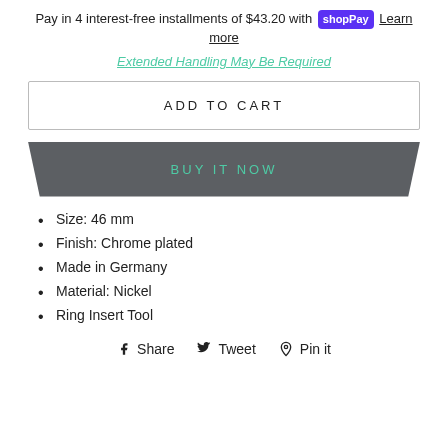Pay in 4 interest-free installments of $43.20 with shopPay Learn more
Extended Handling May Be Required
ADD TO CART
BUY IT NOW
Size: 46 mm
Finish: Chrome plated
Made in Germany
Material: Nickel
Ring Insert Tool
Share  Tweet  Pin it